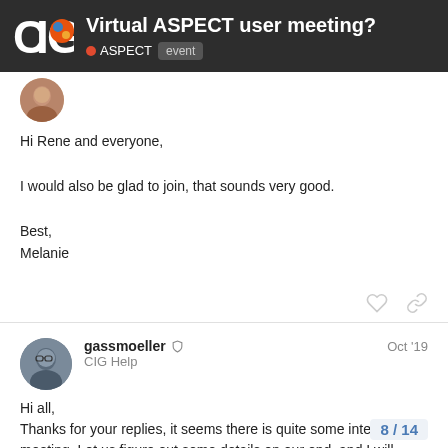Virtual ASPECT user meeting? ASPECT event
[Figure (illustration): Female user avatar circle photo]
Hi Rene and everyone,

I would also be glad to join, that sounds very good.

Best,
Melanie
gassmoeller  CIG Help  Oct '19
[Figure (photo): Male user avatar with glasses]
Hi all,
Thanks for your replies, it seems there is quite some interest for a meeting. Let us figure out some details on our end, and I will come back to you about this, most likely w  best time and dates.
8 / 14